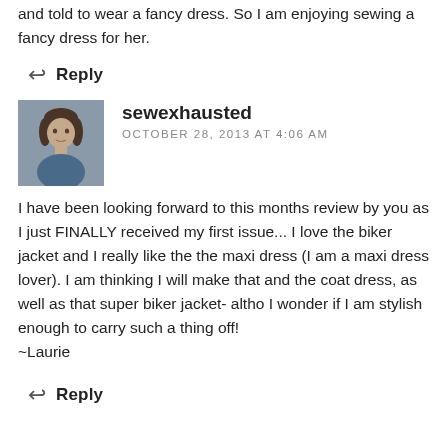and told to wear a fancy dress. So I am enjoying sewing a fancy dress for her.
Reply
sewexhausted
OCTOBER 28, 2013 AT 4:06 AM
I have been looking forward to this months review by you as I just FINALLY received my first issue... I love the biker jacket and I really like the the maxi dress (I am a maxi dress lover). I am thinking I will make that and the coat dress, as well as that super biker jacket- altho I wonder if I am stylish enough to carry such a thing off!
~Laurie
Reply